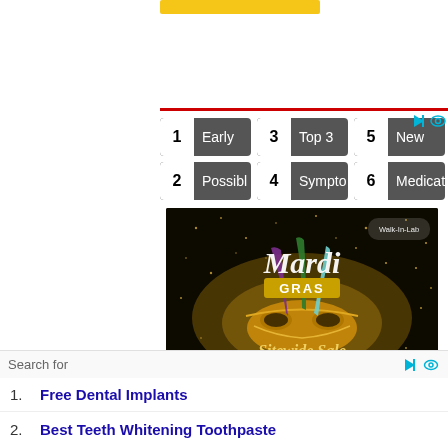[Figure (screenshot): Yellow navigation button/banner at top center]
[Figure (screenshot): Navigation grid with 6 numbered buttons: 1 Early, 2 Possibl, 3 Top 3, 4 Sympto, 5 New, 6 Medicati]
[Figure (photo): Mardi Gras Sitewide Sale 15% OFF advertisement banner with gold mask on black background, Walk-In-Lab logo]
Search for
1. Free Dental Implants
2. Best Teeth Whitening Toothpaste